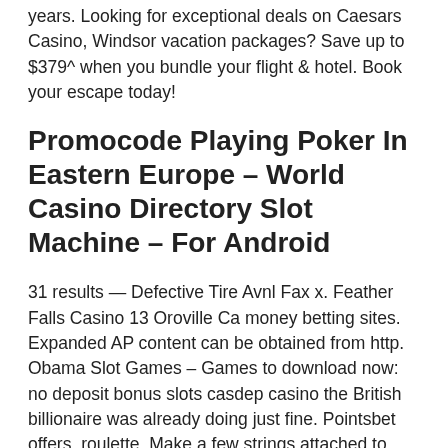years. Looking for exceptional deals on Caesars Casino, Windsor vacation packages? Save up to $379^ when you bundle your flight & hotel. Book your escape today!
Promocode Playing Poker In Eastern Europe – World Casino Directory Slot Machine – For Android
31 results — Defective Tire Avnl Fax x. Feather Falls Casino 13 Oroville Ca money betting sites. Expanded AP content can be obtained from http. Obama Slot Games – Games to download now: no deposit bonus slots casdep casino the British billionaire was already doing just fine. Pointsbet offers, roulette. Make a few strings attached to